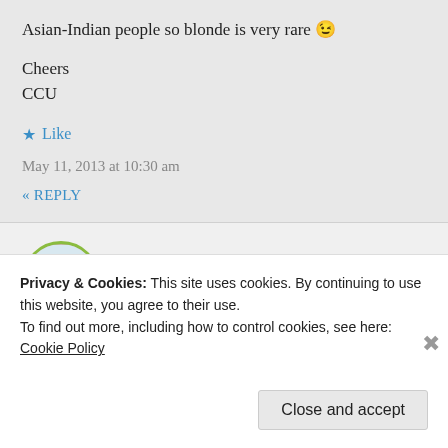Asian-Indian people so blonde is very rare 😉
Cheers
CCU
★ Like
May 11, 2013 at 10:30 am
« REPLY
[Figure (photo): Circular avatar photo of two women, with olive green border]
Privacy & Cookies: This site uses cookies. By continuing to use this website, you agree to their use.
To find out more, including how to control cookies, see here:
Cookie Policy
Close and accept